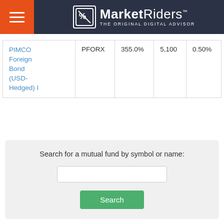[Figure (logo): MarketRiders - The Original Digital Advisor logo on dark navy header with orange hamburger menu icon]
| PIMCO Foreign Bond (USD-Hedged) I | PFORX | 355.0% | 5,100 | 0.50% |
Search for a mutual fund by symbol or name: